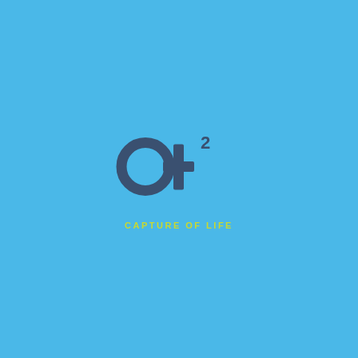[Figure (logo): Logo consisting of a circle with a cross/plus symbol attached to its right side and a superscript '2', forming a key-like or gender-symbol-like icon in dark blue/slate color, with the tagline 'CAPTURE OF LIFE' in yellow-green below]